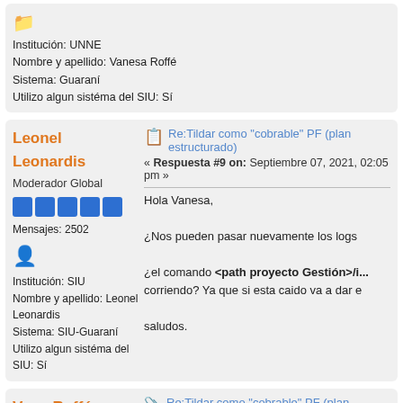Institución: UNNE
Nombre y apellido: Vanesa Roffé
Sistema: Guaraní
Utilizo algun sistéma del SIU: Sí
Leonel Leonardis
Moderador Global
Mensajes: 2502
Institución: SIU
Nombre y apellido: Leonel Leonardis
Sistema: SIU-Guaraní
Utilizo algun sistéma del SIU: Sí
Re:Tildar como "cobrable" PF (plan estructurado)
« Respuesta #9 on: Septiembre 07, 2021, 02:05 pm »
Hola Vanesa,
¿Nos pueden pasar nuevamente los logs
¿el comando <path proyecto Gestión>/i... corriendo? Ya que si esta caido va a dar e
saludos.
Vane Roffé
Full Member
Re:Tildar como "cobrable" PF (plan estructurado)
« Respuesta #10 on: Septiembre 13, 2021, 09:3 am »